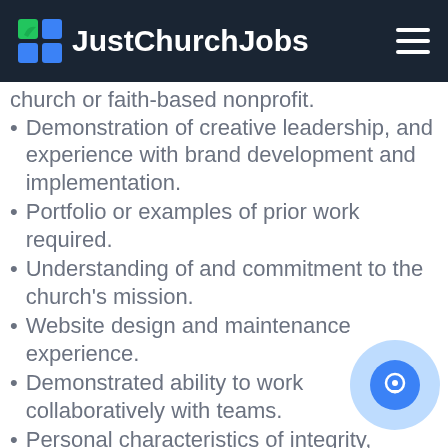JustChurchJobs
church or faith-based nonprofit.
Demonstration of creative leadership, and experience with brand development and implementation.
Portfolio or examples of prior work required.
Understanding of and commitment to the church's mission.
Website design and maintenance experience.
Demonstrated ability to work collaboratively with teams.
Personal characteristics of integrity, vision, discernment, compassion, and humor.
Demonstrated ability to work with vendors,